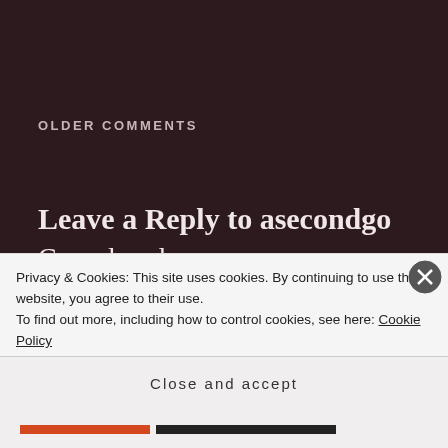OLDER COMMENTS
Leave a Reply to asecondgo Cancel reply
Your email address will not be published. Required fields are marked *
Privacy & Cookies: This site uses cookies. By continuing to use this website, you agree to their use.
To find out more, including how to control cookies, see here: Cookie Policy
Close and accept